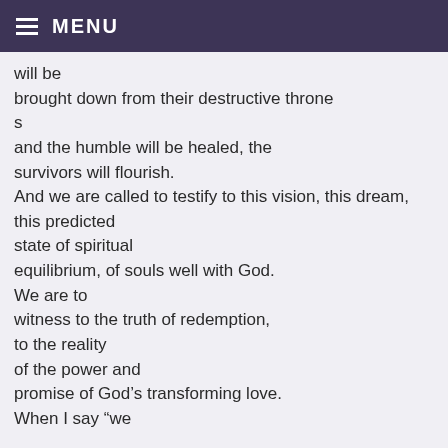MENU
will be brought down from their destructive thrones and the humble will be healed, the survivors will flourish. And we are called to testify to this vision, this dream, this predicted state of spiritual equilibrium, of souls well with God. We are to witness to the truth of redemption, to the reality of the power and promise of God's transforming love. When I say “we , ” I mean you and me. Sounds like a straightforward task for us Christians, but witnessing is not an untroubled task.